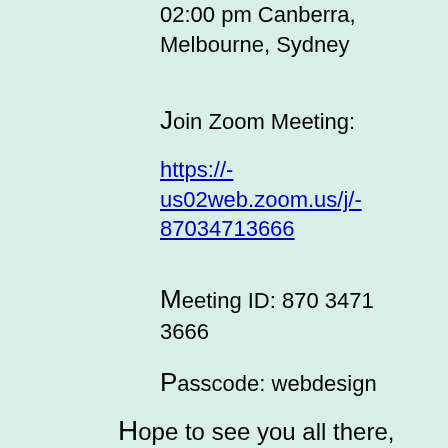02:00 pm Canberra, Melbourne, Sydney
Join Zoom Meeting:
https://-us02web.zoom.us/j/-87034713666
Meeting ID: 870 3471 3666
Passcode: webdesign
Hope to see you all there,
— Steve South
Meetings This Week
Main Meeting - Tuesday, 24 Aug - 5:30 pm (6:00 pm meeting start) - 8:00 pm